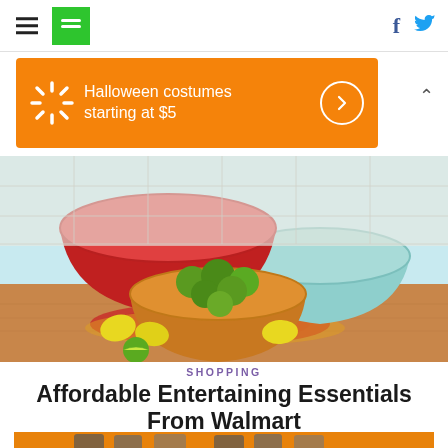HuffPost navigation with hamburger menu, logo, Facebook and Twitter icons
[Figure (illustration): Walmart Halloween costumes ad banner: orange background, Walmart spark logo, text 'Halloween costumes starting at $5', arrow circle button]
[Figure (photo): Three decorative ceramic bowls on a wooden surface: large red bowl, medium teal/mint bowl, yellow bowl filled with limes and lemons, red floral napkin underneath, light blue background]
SHOPPING
Affordable Entertaining Essentials From Walmart
[Figure (photo): Bottom teaser image showing people in coats on orange background]